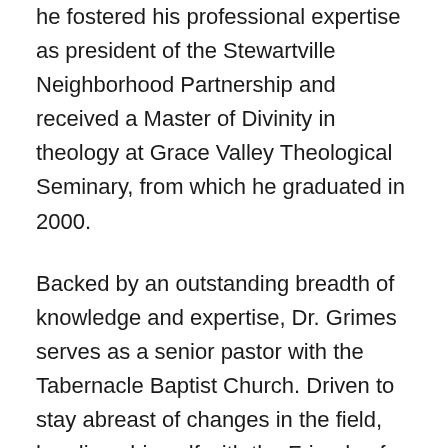he fostered his professional expertise as president of the Stewartville Neighborhood Partnership and received a Master of Divinity in theology at Grace Valley Theological Seminary, from which he graduated in 2000.
Backed by an outstanding breadth of knowledge and expertise, Dr. Grimes serves as a senior pastor with the Tabernacle Baptist Church. Driven to stay abreast of changes in the field, he aligns himself with the Friends of Martin Luther King and the National Association of Housing and Redevelopment Officials. Additionally, he works as commissioner of the Moline Housing Authority and serves as Executive Director of Churches United of the Quad Cities. Throughout his career, he has also dedicated himself to the United Way of the Quad City Area, the Wood River Baptist